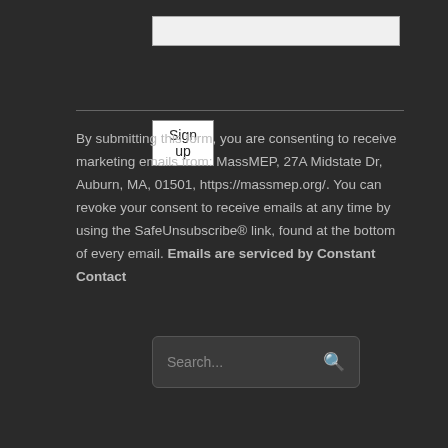[Figure (other): Text input field (form element)]
Sign up
By submitting this form, you are consenting to receive marketing emails from: MassMEP, 27A Midstate Dr, Auburn, MA, 01501, https://massmep.org/. You can revoke your consent to receive emails at any time by using the SafeUnsubscribe® link, found at the bottom of every email. Emails are serviced by Constant Contact
[Figure (other): Search input field with search icon]